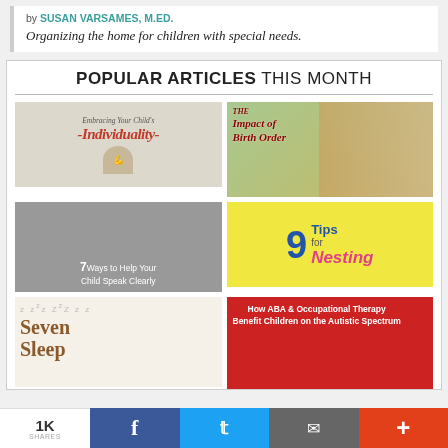by SUSAN VARSAMES, M.ED.
Organizing the home for children with special needs.
POPULAR ARTICLES THIS MONTH
[Figure (photo): Thumbnail: Embracing Your Child's -Individuality- with child flexing muscles]
[Figure (photo): Thumbnail: The Impact of Birth Order with three children standing outdoors]
[Figure (photo): Thumbnail: 7 Ways to Help Your Child Speak Clearly with child shouting]
[Figure (photo): Thumbnail: 9 Tips for Nesting with yellow background and blue/pink text]
[Figure (photo): Thumbnail: Seven Sleep with sleeping child]
[Figure (photo): Thumbnail: How ABA & Occupational Therapy Benefit Children on the Autistic Spectrum with red background]